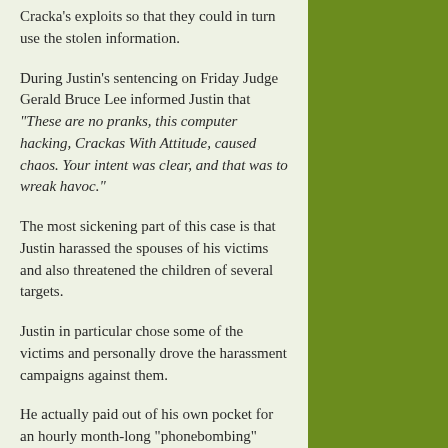Cracka's exploits so that they could in turn use the stolen information.
During Justin's sentencing on Friday Judge Gerald Bruce Lee informed Justin that “These are no pranks, this computer hacking, Crackas With Attitude, caused chaos. Your intent was clear, and that was to wreak havoc.”
The most sickening part of this case is that Justin harassed the spouses of his victims and also threatened the children of several targets.
Justin in particular chose some of the victims and personally drove the harassment campaigns against them.
He actually paid out of his own pocket for an hourly month-long “phonebombing” campaign leaving threatening and explicit messages for former FBI deputy director Mark Giuliano who was not named in court documents